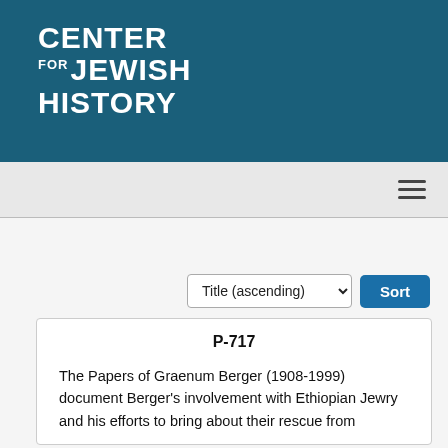[Figure (logo): Center for Jewish History logo — white bold text on teal background reading CENTER FOR JEWISH HISTORY]
[Figure (infographic): Navigation bar with hamburger menu icon (three horizontal lines) on light gray background]
Title (ascending)
Sort
P-717
The Papers of Graenum Berger (1908-1999) document Berger's involvement with Ethiopian Jewry and his efforts to bring about their rescue from